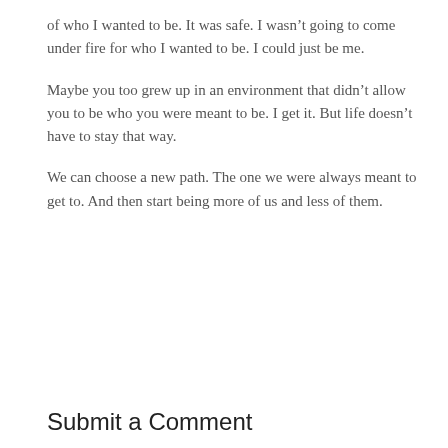of who I wanted to be. It was safe. I wasn't going to come under fire for who I wanted to be. I could just be me.
Maybe you too grew up in an environment that didn't allow you to be who you were meant to be. I get it. But life doesn't have to stay that way.
We can choose a new path. The one we were always meant to get to. And then start being more of us and less of them.
Submit a Comment